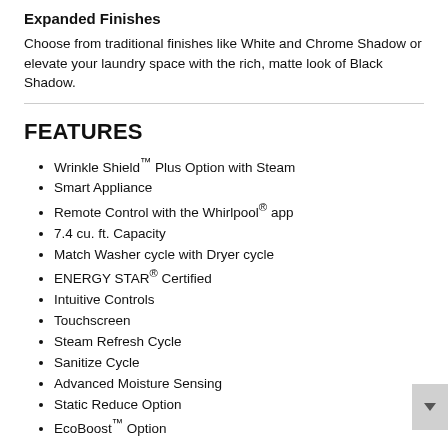Expanded Finishes
Choose from traditional finishes like White and Chrome Shadow or elevate your laundry space with the rich, matte look of Black Shadow.
FEATURES
Wrinkle Shield™ Plus Option with Steam
Smart Appliance
Remote Control with the Whirlpool® app
7.4 cu. ft. Capacity
Match Washer cycle with Dryer cycle
ENERGY STAR® Certified
Intuitive Controls
Touchscreen
Steam Refresh Cycle
Sanitize Cycle
Advanced Moisture Sensing
Static Reduce Option
EcoBoost™ Option